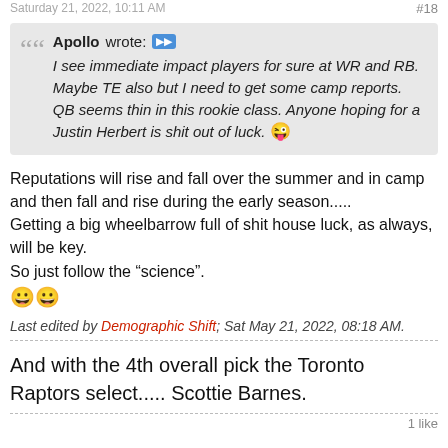Saturday 21, 2022, 10:11 AM    #18
Apollo wrote: [quote icon] I see immediate impact players for sure at WR and RB. Maybe TE also but I need to get some camp reports. QB seems thin in this rookie class. Anyone hoping for a Justin Herbert is shit out of luck. 😜
Reputations will rise and fall over the summer and in camp and then fall and rise during the early season..... Getting a big wheelbarrow full of shit house luck, as always, will be key.
So just follow the “science”.
😀😀
Last edited by Demographic Shift; Sat May 21, 2022, 08:18 AM.
And with the 4th overall pick the Toronto Raptors select..... Scottie Barnes.
1 like